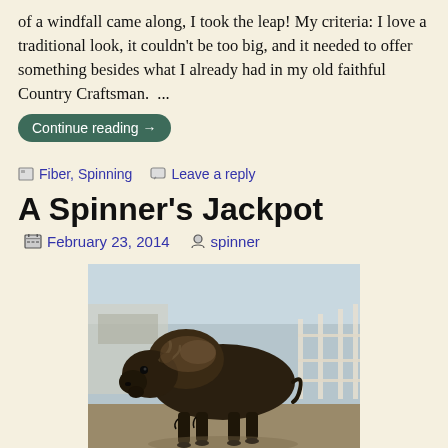of a windfall came along, I took the leap! My criteria: I love a traditional look, it couldn't be too big, and it needed to offer something besides what I already had in my old faithful Country Craftsman.  ...
Continue reading →
Fiber, Spinning    Leave a reply
A Spinner's Jackpot
February 23, 2014    spinner
[Figure (photo): A large bison (American buffalo) standing in a pen or farmyard, photographed outdoors. The animal is dark brown/black and faces right with its distinctive humped shoulders and large head visible.]